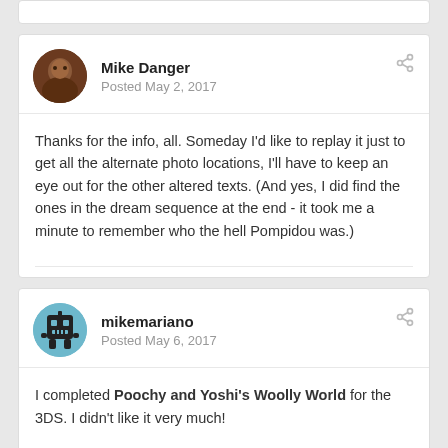Mike Danger
Posted May 2, 2017
Thanks for the info, all. Someday I'd like to replay it just to get all the alternate photo locations, I'll have to keep an eye out for the other altered texts. (And yes, I did find the ones in the dream sequence at the end - it took me a minute to remember who the hell Pompidou was.)
mikemariano
Posted May 6, 2017
I completed Poochy and Yoshi's Woolly World for the 3DS. I didn't like it very much!
The game is cute and recreates Yoshi's Island gameplay well enough, but it is too slow with too many collectibles that are agonizing to pick up.  Every corner of the map must be physically explored—you're basically pixel hunting with Yoshi instead of a mouse.  The typical pick-